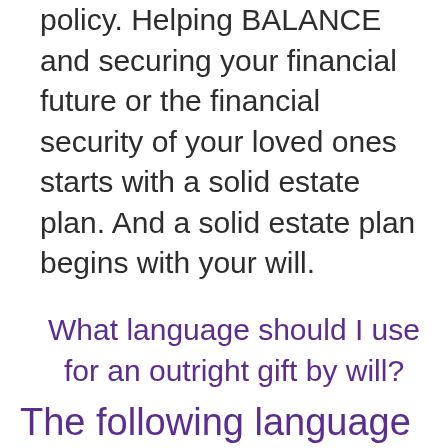policy. Helping BALANCE and securing your financial future or the financial security of your loved ones starts with a solid estate plan. And a solid estate plan begins with your will.
What language should I use for an outright gift by will?
The following language